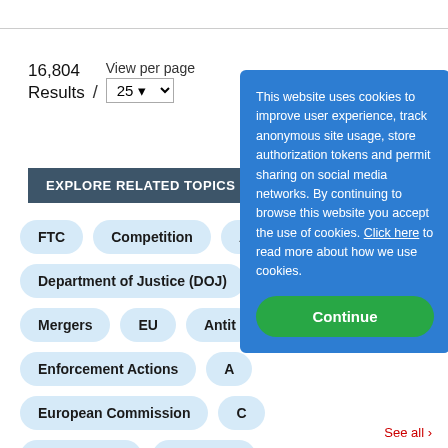16,804 Results
View per page 25
EXPLORE RELATED TOPICS
FTC
Competition
Department of Justice (DOJ)
Mergers
EU
Antit...
Enforcement Actions
A...
European Commission
C...
Sherman Act
Acquisitio...
This website uses cookies to improve user experience, track anonymous site usage, store authorization tokens and permit sharing on social media networks. By continuing to browse this website you accept the use of cookies. Click here to read more about how we use cookies.
Continue
See all ›